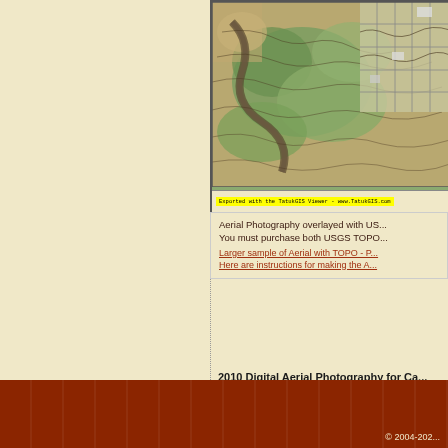[Figure (map): Aerial photography overlayed with USGS TOPO map lines showing a river/creek area with surrounding farmland and a gridded road network in the upper right corner. Bottom bar shows 'Exported with the TatukGIS Viewer - www.TatukGIS.com']
Aerial Photography overlayed with US... You must purchase both USGS TOPO...
Larger sample of Aerial with TOPO - P...
Here are instructions for making the A...
2010 Digital Aerial Photography for Ca...
https://www.landsat.com/carroll-county-ge... 2010 Aerial Photography of Carroll Coun... & Global Mapper. Image Trader Product ID: CD-GA-13045-1nc2010 $24.99 New In Stock
© 2004-202...